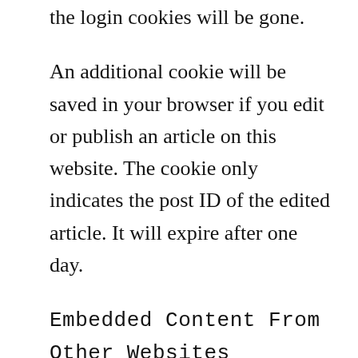the login cookies will be gone.
An additional cookie will be saved in your browser if you edit or publish an article on this website. The cookie only indicates the post ID of the edited article. It will expire after one day.
Embedded Content From Other Websites
Embedded contents (example: images, videos etc.) may be included in the articles of this site.
Other websites from where you may take an embedded content, may collect your personal data, use cookies, and monitor your interaction with that